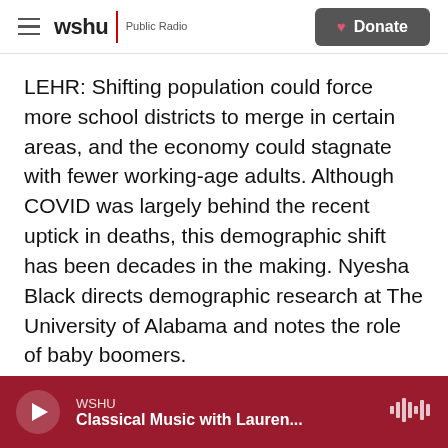wshu Public Radio | Donate
LEHR: Shifting population could force more school districts to merge in certain areas, and the economy could stagnate with fewer working-age adults. Although COVID was largely behind the recent uptick in deaths, this demographic shift has been decades in the making. Nyesha Black directs demographic research at The University of Alabama and notes the role of baby boomers.
NYESHA BLACK: They're more likely to have a higher median age and thus outside of what we would consider of childbearing years. Naturally,
WSHU | Classical Music with Lauren...